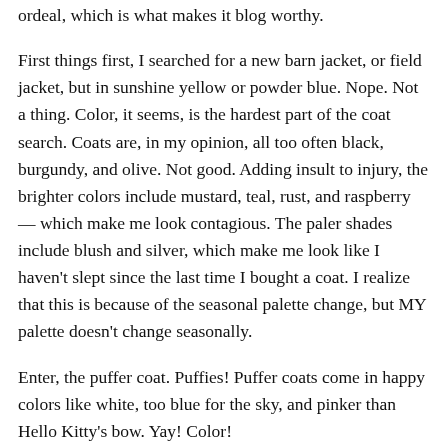ordeal, which is what makes it blog worthy.
First things first, I searched for a new barn jacket, or field jacket, but in sunshine yellow or powder blue. Nope. Not a thing. Color, it seems, is the hardest part of the coat search. Coats are, in my opinion, all too often black, burgundy, and olive. Not good. Adding insult to injury, the brighter colors include mustard, teal, rust, and raspberry — which make me look contagious. The paler shades include blush and silver, which make me look like I haven't slept since the last time I bought a coat. I realize that this is because of the seasonal palette change, but MY palette doesn't change seasonally.
Enter, the puffer coat. Puffies! Puffer coats come in happy colors like white, too blue for the sky, and pinker than Hello Kitty's bow. Yay! Color!
I need something that covers my bottom a lil cause I wear...